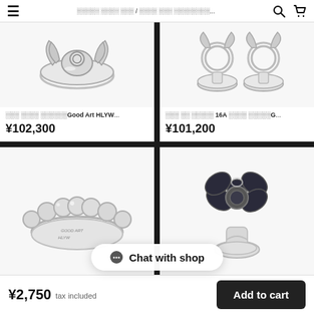☰  ░░░░░ ░░░░ ░░░ / ░░░░ ░░░ ░░░░░░░░...  🔍  🛒
[Figure (photo): Silver decorative ring with wing/hands motif, Good Art HLYW brand]
░░░ ░░░░ ░░░░░░Good Art HLYW...
¥102,300
[Figure (photo): Two silver rings with circular tops and wing details, 16A design, Good Art brand]
░░░ ░░ ░░░░░ 16A ░░░░ ░░░░░G...
¥101,200
[Figure (photo): Silver beaded/ball ring with engravings, Good Art HLYW brand]
[Figure (photo): Silver flower-shaped ring with dark center petals]
💬 Chat with shop
¥2,750  tax included
Add to cart